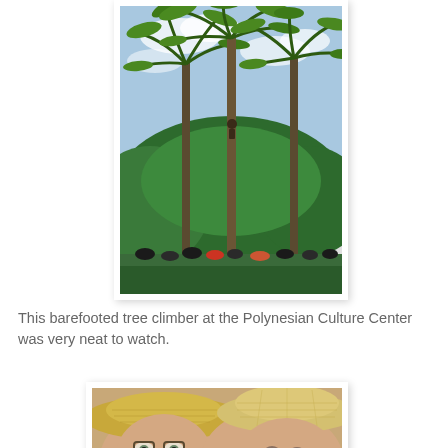[Figure (photo): A person climbing a tall coconut palm tree barefooted at the Polynesian Culture Center, with lush tropical greenery and a partly cloudy sky in the background. A crowd of spectators is visible at the base.]
This barefooted tree climber at the Polynesian Culture Center was very neat to watch.
[Figure (photo): Close-up photo of two people wearing wide-brimmed straw/fabric hats, faces visible from forehead to mid-face level. One person wearing glasses.]